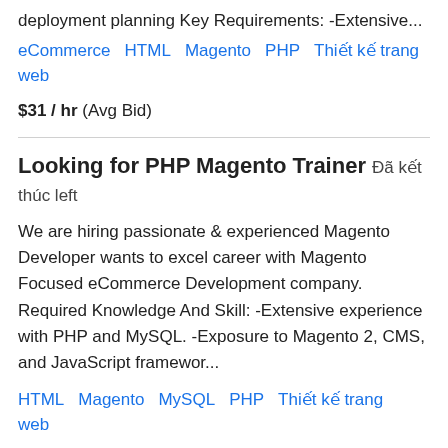deployment planning Key Requirements: -Extensive...
eCommerce   HTML   Magento   PHP   Thiết kế trang web
$31 / hr  (Avg Bid)
Looking for PHP Magento Trainer   Đã kết thúc left
We are hiring passionate & experienced Magento Developer wants to excel career with Magento Focused eCommerce Development company. Required Knowledge And Skill: -Extensive experience with PHP and MySQL. -Exposure to Magento 2, CMS, and JavaScript framewor...
HTML   Magento   MySQL   PHP   Thiết kế trang web
$15 / hr  (Avg Bid)
Need 4 Drupal developers on contact basis ( Agencies)   Đã kết thúc left